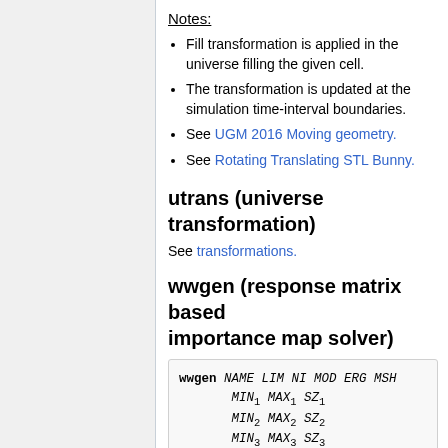Notes:
Fill transformation is applied in the universe filling the given cell.
The transformation is updated at the simulation time-interval boundaries.
See UGM 2016 Moving geometry.
See Rotating Translating STL Bunny.
utrans (universe transformation)
See transformations.
wwgen (response matrix based importance map solver)
wwgen NAME LIM NI MOD ERG MSH
      MIN1 MAX1 SZ1
      MIN2 MAX2 SZ2
      MIN3 MAX3 SZ3
      DET1 W1 [ DET2 W2 ... ]